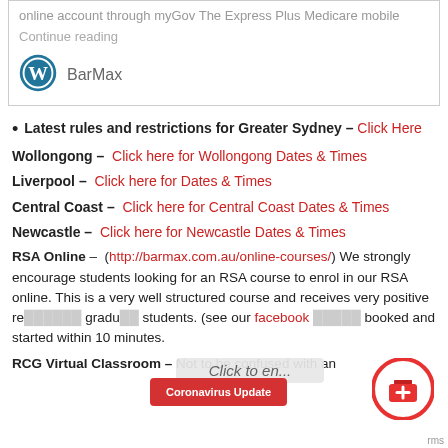online account through myGov The Express Plus Medicare mobile
Continue reading
[Figure (logo): WordPress logo icon]
BarMax
Latest rules and restrictions for Greater Sydney – Click Here
Wollongong – Click here for Wollongong Dates & Times
Liverpool – Click here for Dates & Times
Central Coast – Click here for Central Coast Dates & Times
Newcastle – Click here for Newcastle Dates & Times
RSA Online – (http://barmax.com.au/online-courses/) We strongly encourage students looking for an RSA course to enrol in our RSA online. This is a very well structured course and receives very positive re... graduate... students. (see our facebook ... booked and started within 10 minutes.
RCG Virtual Classroom – Not to be confused with an